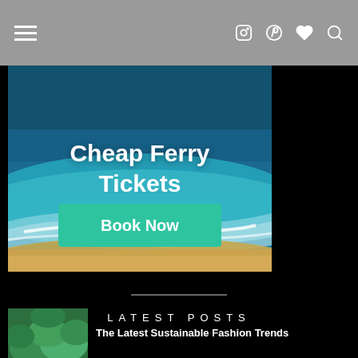Navigation bar with hamburger menu and icons (Instagram, Pinterest, heart, search)
[Figure (photo): Advertisement banner with aerial beach/ocean photo showing turquoise water and sandy shore, with text 'Cheap Ferry Tickets' and a green 'Book Now' button]
LATEST POSTS
[Figure (photo): Thumbnail image of green foliage/trees for a post about sustainable fashion]
The Latest Sustainable Fashion Trends